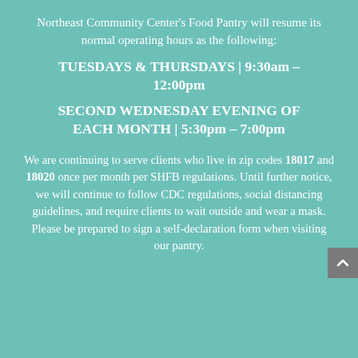Northeast Community Center's Food Pantry will resume its normal operating hours as the following:
TUESDAYS & THURSDAYS | 9:30am – 12:00pm
SECOND WEDNESDAY EVENING OF EACH MONTH | 5:30pm – 7:00pm
We are continuing to serve clients who live in zip codes 18017 and 18020 once per month per SHFB regulations. Until further notice, we will continue to follow CDC regulations, social distancing guidelines, and require clients to wait outside and wear a mask. Please be prepared to sign a self-declaration form when visiting our pantry.